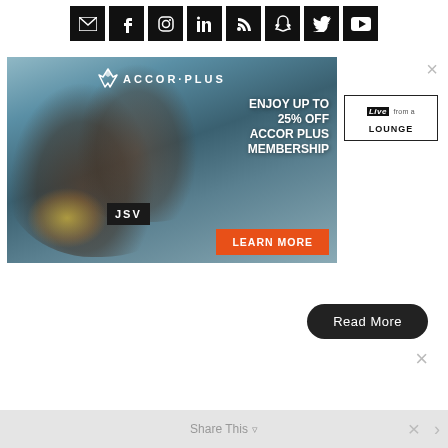[Figure (infographic): Social media icon bar with email, facebook, instagram, linkedin, rss, snapchat, twitter, youtube icons on black background squares]
[Figure (infographic): AccorPlus advertisement banner showing couple with sparklers, AccorPlus logo, text 'ENJOY UP TO 25% OFF ACCOR PLUS MEMBERSHIP', JSV label, and orange LEARN MORE button]
[Figure (logo): Live from a Lounge logo with close X button]
Read More
Share This
[Figure (infographic): Close X button at bottom right]